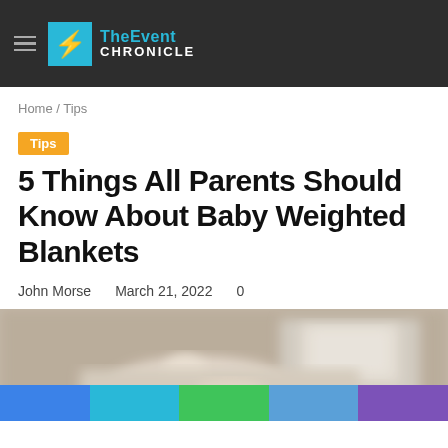TheEvent CHRONICLE
Home / Tips
Tips
5 Things All Parents Should Know About Baby Weighted Blankets
John Morse   March 21, 2022   0
[Figure (photo): Baby sleeping, blurred background with nursery furniture]